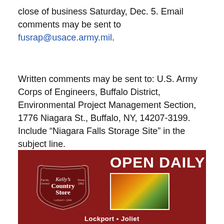close of business Saturday, Dec. 5. Email comments may be sent to fusrap@usace.army.mil.
Written comments may be sent to: U.S. Army Corps of Engineers, Buffalo District, Environmental Project Management Section, 1776 Niagara St., Buffalo, NY, 14207-3199. Include “Niagara Falls Storage Site” in the subject line.
Categories
Sentinel
Sentinel HP Feature List
[Figure (illustration): Advertisement for Kelly's Country Store with dark red background, logo on left with shield shape, text 'OPEN DAILY' in large white bold letters, and a photo of autumn foliage on the right side. Bottom text partially visible.]